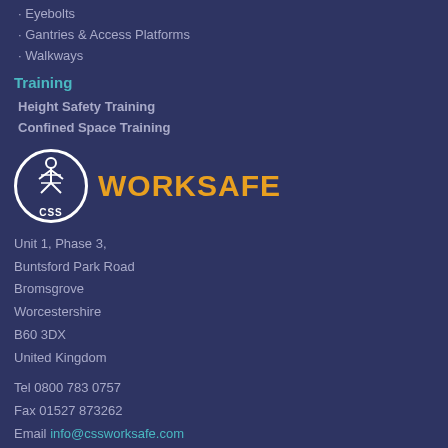Eyebolts
Gantries & Access Platforms
Walkways
Training
Height Safety Training
Confined Space Training
[Figure (logo): CSS Worksafe logo: circular white-bordered emblem with safety harness icon and 'CSS' text, followed by 'WORKSAFE' in large yellow text]
Unit 1, Phase 3,
Buntsford Park Road
Bromsgrove
Worcestershire
B60 3DX
United Kingdom
Tel 0800 783 0757
Fax 01527 873262
Email info@cssworksafe.com